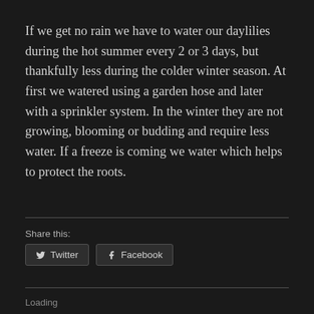If we get no rain we have to water our daylilies during the hot summer every 2 or 3 days, but thankfully less during the colder winter season. At first we watered using a garden hose and later with a sprinkler system. In the winter they are not growing, blooming or budding and require less water. If a freeze is coming we water which helps to protect the roots.
Share this:
Twitter
Facebook
Loading